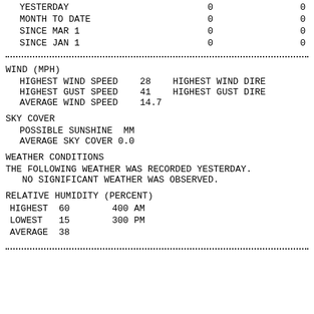| YESTERDAY | 0 |  | 0 |
| MONTH TO DATE | 0 |  | 0 |
| SINCE MAR 1 | 0 |  | 0 |
| SINCE JAN 1 | 0 |  | 0 |
WIND (MPH)
HIGHEST WIND SPEED    28    HIGHEST WIND DIRE
HIGHEST GUST SPEED    41    HIGHEST GUST DIRE
AVERAGE WIND SPEED    14.7
SKY COVER
POSSIBLE SUNSHINE  MM
AVERAGE SKY COVER 0.0
WEATHER CONDITIONS
THE FOLLOWING WEATHER WAS RECORDED YESTERDAY.
   NO SIGNIFICANT WEATHER WAS OBSERVED.
RELATIVE HUMIDITY (PERCENT)
| HIGHEST | 60 |  | 400 AM |
| LOWEST | 15 |  | 300 PM |
| AVERAGE | 38 |  |  |